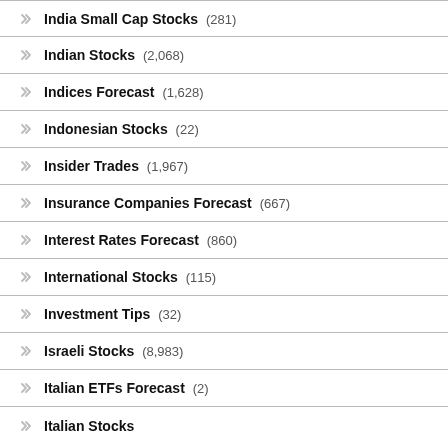India Small Cap Stocks (281)
Indian Stocks (2,068)
Indices Forecast (1,628)
Indonesian Stocks (22)
Insider Trades (1,967)
Insurance Companies Forecast (667)
Interest Rates Forecast (860)
International Stocks (115)
Investment Tips (32)
Israeli Stocks (8,983)
Italian ETFs Forecast (2)
Italian Stocks